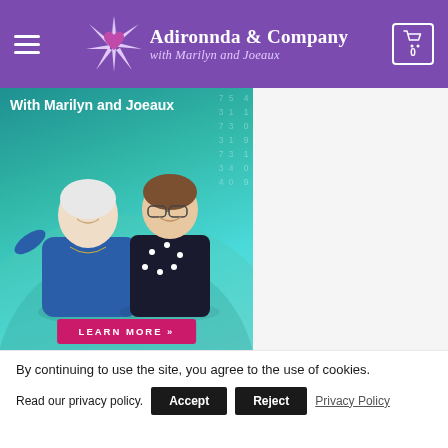Adironnda & Company with Marilyn and Joeaux
[Figure (photo): Promotional banner with two smiling women (Marilyn and Joeaux), teal/green radial background with numbers overlay, 'With Marilyn and Joeaux' title, and pink 'LEARN MORE »' button]
By continuing to use the site, you agree to the use of cookies.
Read our privacy policy. Accept Reject Privacy Policy